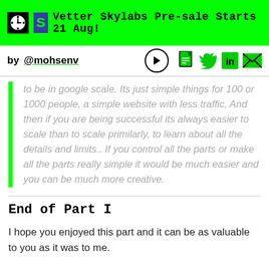Vetter Skylabs Pre-sale Starts 21 Aug!
by @mohsenv
to be in google scale. Its just simple things for 100 or 1000 people, a simple website with less traffic, And then if you are being successful its always easier to scale than to scale primilarly, to learn about all the details and limits.. If you control all the parts or make all the parts really simple it would be much easier and you can be much more creative.
End of Part I
I hope you enjoyed this part and it can be as valuable to you as it was to me.